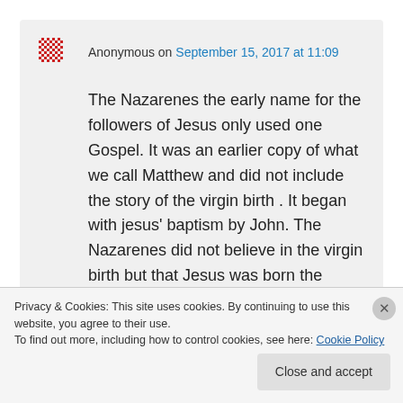Anonymous on September 15, 2017 at 11:09
The Nazarenes the early name for the followers of Jesus only used one Gospel. It was an earlier copy of what we call Matthew and did not include the story of the virgin birth . It began with jesus' baptism by John. The Nazarenes did not believe in the virgin birth but that Jesus was born the same way all humans are born and
Privacy & Cookies: This site uses cookies. By continuing to use this website, you agree to their use.
To find out more, including how to control cookies, see here: Cookie Policy
Close and accept